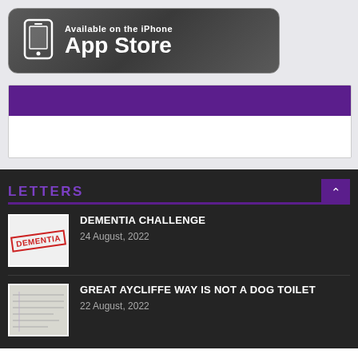[Figure (logo): Available on the iPhone App Store badge — dark grey rounded rectangle with white phone icon and white text]
[Figure (other): Purple banner strip above white strip, inside a light grey container]
LETTERS
[Figure (photo): Thumbnail image of a red DEMENTIA stamp on white background]
DEMENTIA CHALLENGE
24 August, 2022
[Figure (photo): Thumbnail image of lined paper or handwriting]
GREAT AYCLIFFE WAY IS NOT A DOG TOILET
22 August, 2022